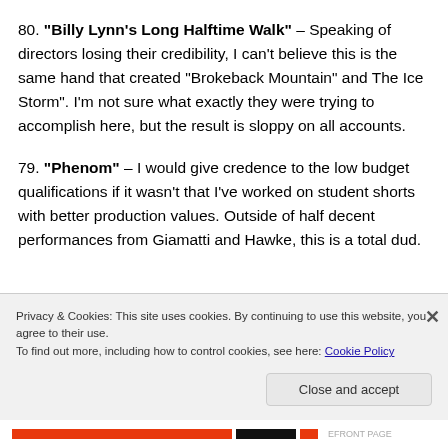80. "Billy Lynn's Long Halftime Walk" – Speaking of directors losing their credibility, I can't believe this is the same hand that created "Brokeback Mountain" and The Ice Storm". I'm not sure what exactly they were trying to accomplish here, but the result is sloppy on all accounts.
79. "Phenom" – I would give credence to the low budget qualifications if it wasn't that I've worked on student shorts with better production values. Outside of half decent performances from Giamatti and Hawke, this is a total dud.
Privacy & Cookies: This site uses cookies. By continuing to use this website, you agree to their use.
To find out more, including how to control cookies, see here: Cookie Policy